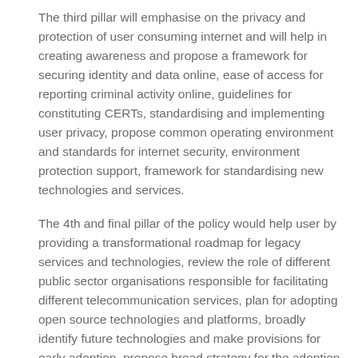The third pillar will emphasise on the privacy and protection of user consuming internet and will help in creating awareness and propose a framework for securing identity and data online, ease of access for reporting criminal activity online, guidelines for constituting CERTs, standardising and implementing user privacy, propose common operating environment and standards for internet security, environment protection support, framework for standardising new technologies and services.
The 4th and final pillar of the policy would help user by providing a transformational roadmap for legacy services and technologies, review the role of different public sector organisations responsible for facilitating different telecommunication services, plan for adopting open source technologies and platforms, broadly identify future technologies and make provisions for early adoption, propose broad strategy for the adoption of internet of everything, and last but not the least provide